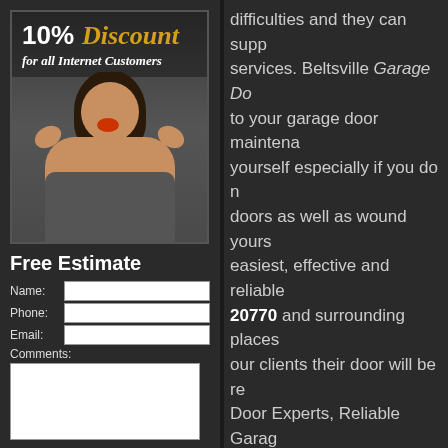[Figure (illustration): Advertisement banner showing '10% Discount for all Internet Customers' with an excited woman photo on dark background]
Free Estimate
Name: [input] Phone: [input] Email: [input] Comments: [textarea]
difficulties and they can supply services. Beltsville Garage Do... to your garage door maintena... yourself especially if you do n... doors as well as wound yours... easiest, effective and reliable 20770 and surrounding places... our clients their door will be re... Door Experts, Reliable Garag... Overhead Door, Genie Garag... Opener Safety, Fix Garage Do... Doors, Opener Sensor Issues... Replacement, Torsion Springs... Access Devices, Best Garage... Garage Door Opener Installat... Spring, Garage Door Openers... Garage Doors, Overhead Do...